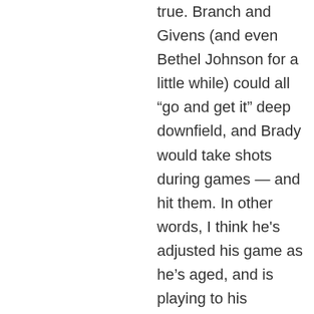true. Branch and Givens (and even Bethel Johnson for a little while) could all “go and get it” deep downfield, and Brady would take shots during games — and hit them. In other words, I think he's adjusted his game as he’s aged, and is playing to his physical strengths as they are at age 38. Regarding Pedro….I’d buy into that “guru” story if his numbers improved after